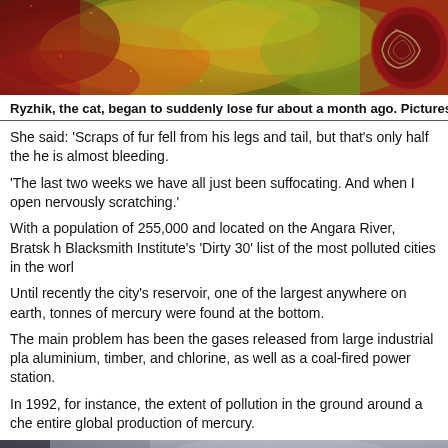[Figure (photo): Close-up photo of what appears to be animal fur or leaf texture in red, orange, yellow and green tones with a dark circular element on the right side.]
Ryzhik, the cat, began to suddenly lose fur about a month ago. Pictures: Irina
She said: 'Scraps of fur fell from his legs and tail, but that's only half the he is almost bleeding.
'The last two weeks we have all just been suffocating. And when I open nervously scratching.'
With a population of 255,000 and located on the Angara River, Bratsk h Blacksmith Institute's 'Dirty 30' list of the most polluted cities in the worl
Until recently the city's reservoir, one of the largest anywhere on earth, tonnes of mercury were found at the bottom.
The main problem has been the gases released from large industrial pla aluminium, timber, and chlorine, as well as a coal-fired power station.
In 1992, for instance, the extent of pollution in the ground around a che entire global production of mercury.
[Figure (photo): Bottom portion of a photo showing a gray/purple sky or atmospheric scene.]